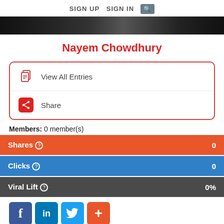SIGN UP  SIGN IN  🔍
[Figure (photo): Dark banner image at top of profile page]
Nayem Chowdhury
View All Entries
Share
Members: 0 member(s)
Shares ⓘ  0
Clicks ⓘ  0
Viral Lift ⓘ  0%
[Figure (infographic): Social sharing buttons: Facebook, LinkedIn, Twitter, Plus]